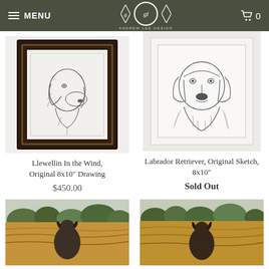MENU | Andrew Lee Design | Cart 0
[Figure (photo): Framed pencil drawing of a Llewellin Setter dog (head portrait) in dark wooden frame]
Llewellin In the Wind, Original 8x10" Drawing
$450.00
[Figure (photo): Pencil sketch of a Labrador Retriever dog (head and shoulders portrait) on white paper with mat border]
Labrador Retriever, Original Sketch, 8x10"
Sold Out
[Figure (photo): Partial view of a color painting showing a dog in a golden field landscape]
[Figure (photo): Partial view of a color painting showing a dog in a golden field landscape]